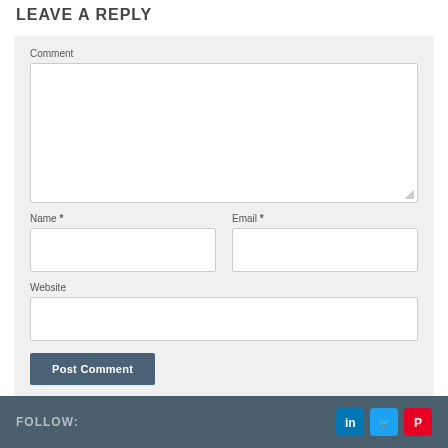LEAVE A REPLY
Comment
Name *
Email *
Website
Post Comment
FOLLOW: